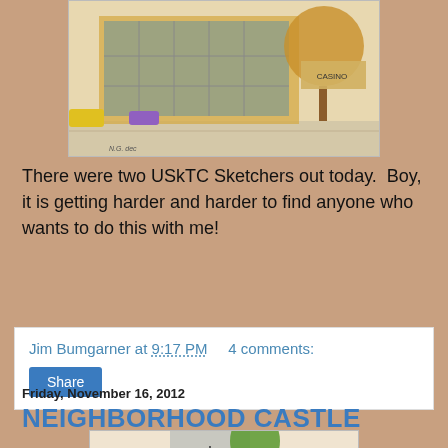[Figure (illustration): Watercolor sketch of a storefront with display windows and a tree, urban street scene]
There were two USkTC Sketchers out today.  Boy, it is getting harder and harder to find anyone who wants to do this with me!
Jim Bumgarner at 9:17 PM    4 comments:
Share
Friday, November 16, 2012
NEIGHBORHOOD CASTLE
[Figure (illustration): Watercolor sketch of a castle tower with crenellations and a tree]